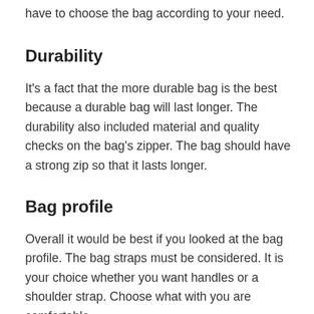have to choose the bag according to your need.
Durability
It's a fact that the more durable bag is the best because a durable bag will last longer. The durability also included material and quality checks on the bag's zipper. The bag should have a strong zip so that it lasts longer.
Bag profile
Overall it would be best if you looked at the bag profile. The bag straps must be considered. It is your choice whether you want handles or a shoulder strap. Choose what with you are comfortable.